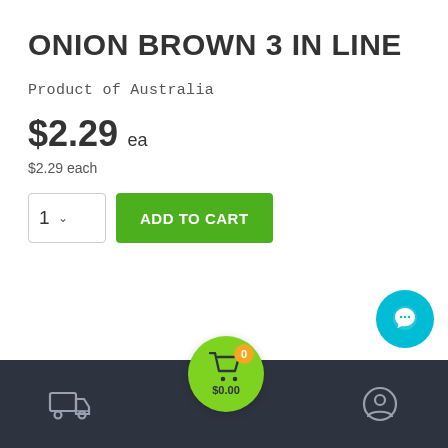ONION BROWN 3 IN LINE
Product of Australia
$2.29 ea
$2.29 each
[Figure (screenshot): Add to cart UI with quantity selector showing '1' and a green 'ADD TO CART' button]
[Figure (screenshot): Bottom navigation bar with delivery truck icon, green cart bubble showing 0 items and $0.00, and user account icon. Teal chat button in bottom right.]